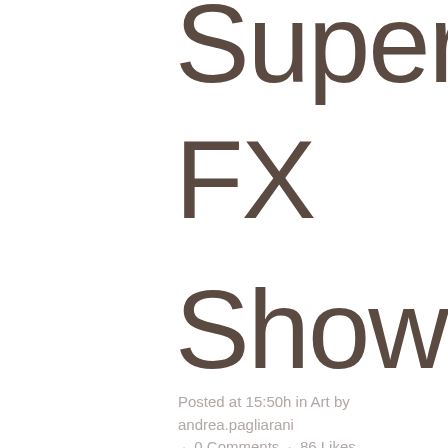Supernatural FX Showreel
Posted at 15:50h in Art by andrea.pagliarani · 0 Comments · 86 Likes
Far far away, behind the word mountains, far from the countries Vokalia and Consonantia, there live the blind texts. Separated they live in Bookmarksgrove right at the coast of the Semantics, a large language ocean. A small river named Duden flows by their place and supplies it in